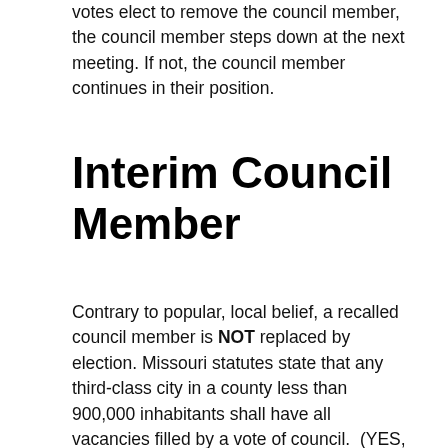votes elect to remove the council member, the council member steps down at the next meeting. If not, the council member continues in their position.
Interim Council Member
Contrary to popular, local belief, a recalled council member is NOT replaced by election. Missouri statutes state that any third-class city in a county less than 900,000 inhabitants shall have all vacancies filled by a vote of council.  (YES, you read that right – the remaining council